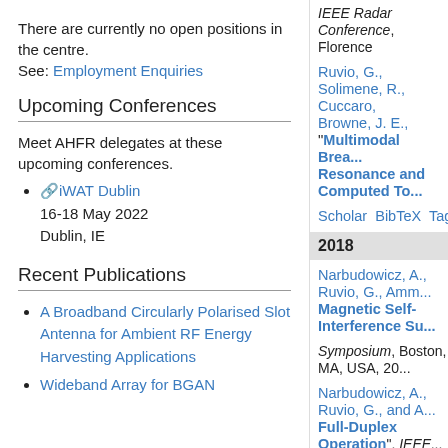There are currently no open positions in the centre.
See: Employment Enquiries
Upcoming Conferences
Meet AHFR delegates at these upcoming conferences.
iWAT Dublin
16-18 May 2022
Dublin, IE
Recent Publications
A Broadband Circularly Polarised Slot Antenna for Ambient RF Energy Harvesting Applications
Wideband Array for BGAN
IEEE Radar Conference, Florence
Ruvio, G., Solimene, R., Cuccaro, Browne, J. E., "Multimodal Brea... Resonance and Computed To...
Scholar  BibTeX  Tagged
2018
Narbudowicz, A., Ruvio, G., Amm... Magnetic Self-Interference Su...
Symposium, Boston, MA, USA, 20...
Narbudowicz, A., Ruvio, G., and A... Full-Duplex Operation", IEEE...
Scholar  BibTeX  Tagged
2016
Tobon, J., Vipiana, F., Ammann, M... Imaging Systems", in European... 2016.    Google Scholar  BibTe...